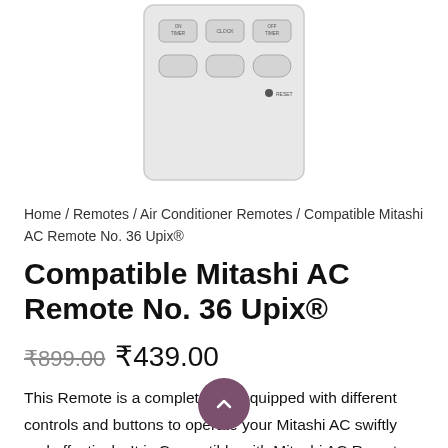[Figure (photo): AC remote control with buttons: ON TIMER, CLOCK, OFF TIMER in top row and three unlabeled buttons in bottom row, plus a RESET button at bottom right.]
Home / Remotes / Air Conditioner Remotes / Compatible Mitashi AC Remote No. 36 Upix®
Compatible Mitashi AC Remote No. 36 Upix®
₹899.00 ₹439.00
This Remote is a complete tool equipped with different controls and buttons to operate your Mitashi AC swiftly and effectively. It is Compatible with Mitashi AC Remote